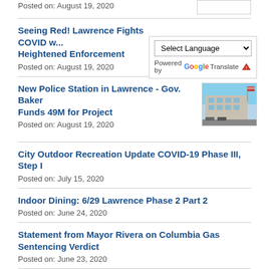Posted on: August 19, 2020
Seeing Red! Lawrence Fights COVID w... Heightened Enforcement
Posted on: August 19, 2020
[Figure (infographic): Google Translate widget with Select Language dropdown and Google Translate branding with warning icon]
New Police Station in Lawrence - Gov. Baker Funds 49M for Project
Posted on: August 19, 2020
[Figure (photo): Photo of a building (new police station) with American flag and blue sky]
City Outdoor Recreation Update COVID-19 Phase III, Step I
Posted on: July 15, 2020
Indoor Dining: 6/29 Lawrence Phase 2 Part 2
Posted on: June 24, 2020
Statement from Mayor Rivera on Columbia Gas Sentencing Verdict
Posted on: June 23, 2020
Lawrence to Observe Juneteenth City Hall CLOSED Friday